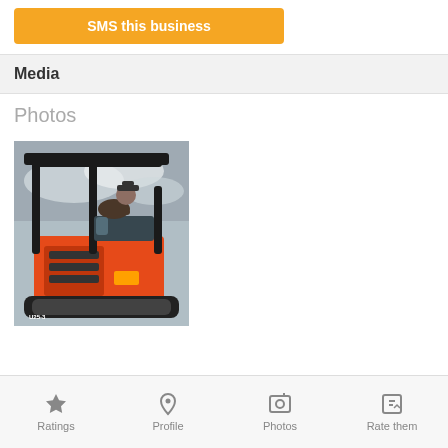SMS this business
Media
Photos
[Figure (photo): Person sitting on a red and black mini excavator (Kubota U25-3) viewed from behind/side, with a cloudy sky in the background.]
Ratings | Profile | Photos | Rate them